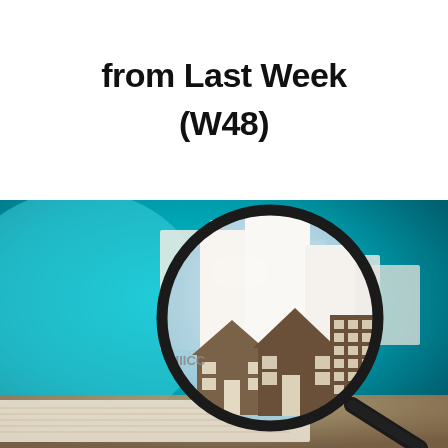from Last Week (W48)
[Figure (photo): A magnifying glass focusing on miniature paper house and building cutouts arranged on an open book/newspaper, with a teal/turquoise blurred background. The magnifying glass reveals silhouettes of houses and a multi-story building inside its lens.]